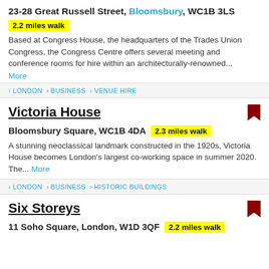23-28 Great Russell Street, Bloomsbury, WC1B 3LS
2.2 miles walk
Based at Congress House, the headquarters of the Trades Union Congress, the Congress Centre offers several meeting and conference rooms for hire within an architecturally-renowned... More
LONDON > BUSINESS > VENUE HIRE
Victoria House
Bloomsbury Square, WC1B 4DA  2.3 miles walk
A stunning neoclassical landmark constructed in the 1920s, Victoria House becomes London's largest co-working space in summer 2020. The... More
LONDON > BUSINESS > HISTORIC BUILDINGS
Six Storeys
11 Soho Square, London, W1D 3QF  2.2 miles walk